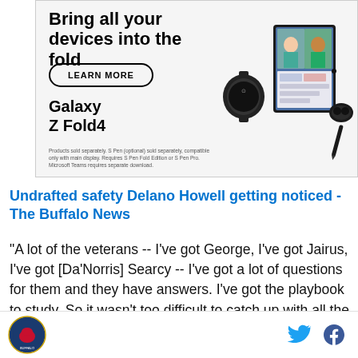[Figure (illustration): Samsung Galaxy Z Fold4 advertisement showing the tagline 'Bring all your devices into the fold', a LEARN MORE button, the product name 'Galaxy Z Fold4', device images including a foldable phone, earbuds, and a watch, and a disclaimer about products sold separately.]
Undrafted safety Delano Howell getting noticed - The Buffalo News
"A lot of the veterans -- I've got George, I've got Jairus, I've got [Da'Norris] Searcy -- I've got a lot of questions for them and they have answers. I've got the playbook to study. So it wasn't too difficult to catch up with all the
Logo | Twitter | Facebook